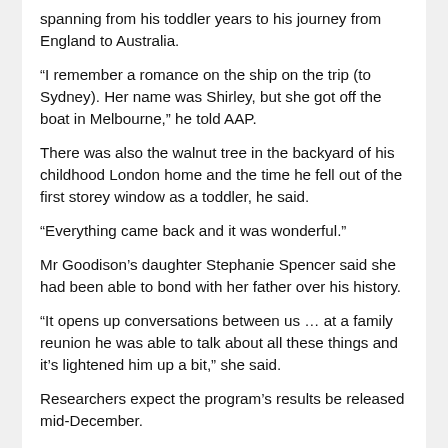spanning from his toddler years to his journey from England to Australia.
“I remember a romance on the ship on the trip (to Sydney). Her name was Shirley, but she got off the boat in Melbourne,” he told AAP.
There was also the walnut tree in the backyard of his childhood London home and the time he fell out of the first storey window as a toddler, he said.
“Everything came back and it was wonderful.”
Mr Goodison’s daughter Stephanie Spencer said she had been able to bond with her father over his history.
“It opens up conversations between us … at a family reunion he was able to talk about all these things and it’s lightened him up a bit,” she said.
Researchers expect the program’s results be released mid-December.